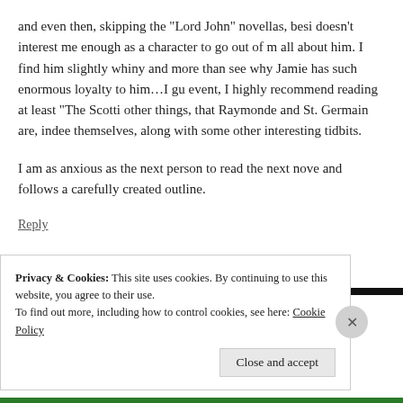and even then, skipping the “Lord John” novellas, besides doesn’t interest me enough as a character to go out of my way to read all about him. I find him slightly whiny and more than a little hard to see why Jamie has such enormous loyalty to him…I gu event, I highly recommend reading at least “The Scotti other things, that Raymonde and St. Germain are, indeed themselves, along with some other interesting tidbits.
I am as anxious as the next person to read the next nove and follows a carefully created outline.
Reply
[Figure (photo): Small thumbnail of a cat photo, used as a commenter avatar]
Privacy & Cookies: This site uses cookies. By continuing to use this website, you agree to their use.
To find out more, including how to control cookies, see here: Cookie Policy
Close and accept